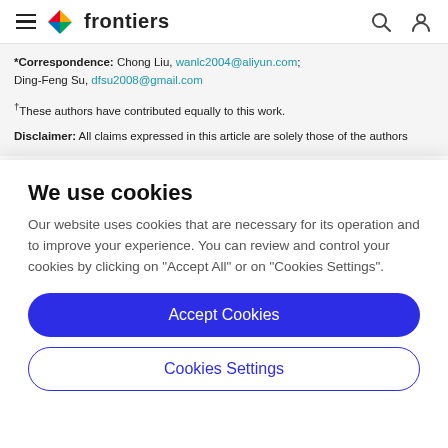frontiers
*Correspondence: Chong Liu, wanlc2004@aliyun.com; Ding-Feng Su, dfsu2008@gmail.com
†These authors have contributed equally to this work.
Disclaimer: All claims expressed in this article are solely those of the authors
We use cookies
Our website uses cookies that are necessary for its operation and to improve your experience. You can review and control your cookies by clicking on "Accept All" or on "Cookies Settings".
Accept Cookies
Cookies Settings